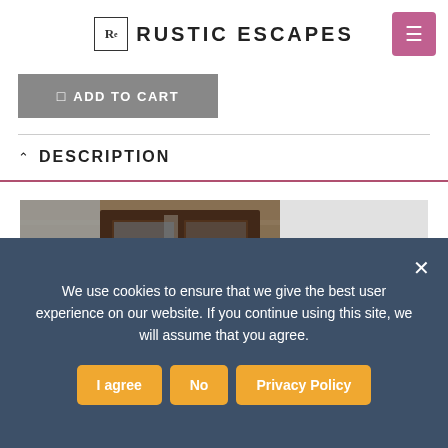RUSTIC ESCAPES
ADD TO CART
DESCRIPTION
[Figure (photo): Blurred interior room photo showing a dark wooden wardrobe/armoire against a brick wall, with white paneled wall on the right and what appears to be a basket or item in the lower right corner.]
We use cookies to ensure that we give the best user experience on our website. If you continue using this site, we will assume that you agree.